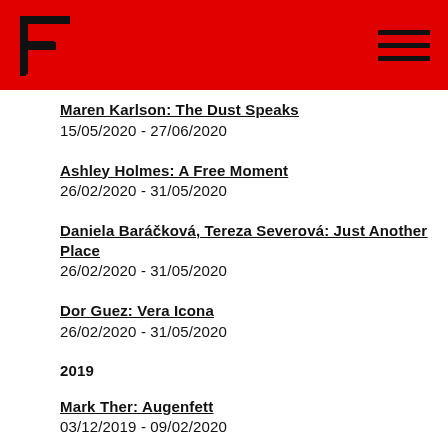F logo and hamburger menu
Maren Karlson: The Dust Speaks
15/05/2020 - 27/06/2020
Ashley Holmes: A Free Moment
26/02/2020 - 31/05/2020
Daniela Baráčková, Tereza Severová: Just Another Place
26/02/2020 - 31/05/2020
Dor Guez: Vera Icona
26/02/2020 - 31/05/2020
2019
Mark Ther: Augenfett
03/12/2019 - 09/02/2020
Irina Lotarevich, Galvanic Couple
03/12/2019 - 09/02/2020
When the time swirls, when it turns into a